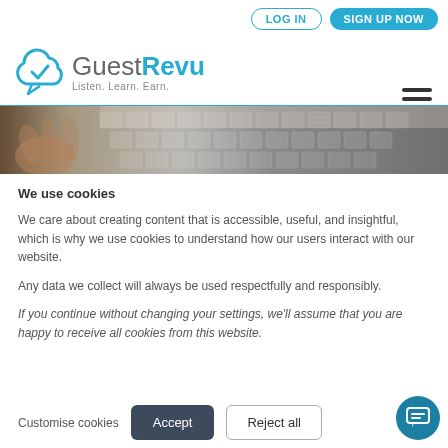LOG IN  SIGN UP NOW
[Figure (logo): GuestRevu logo with cloud checkmark icon and tagline 'Listen. Learn. Earn.']
[Figure (photo): Partial view of hands typing on a laptop keyboard, shown as a banner strip]
We use cookies
We care about creating content that is accessible, useful, and insightful, which is why we use cookies to understand how our users interact with our website.
Any data we collect will always be used respectfully and responsibly.
If you continue without changing your settings, we'll assume that you are happy to receive all cookies from this website.
Customise cookies  Accept  Reject all